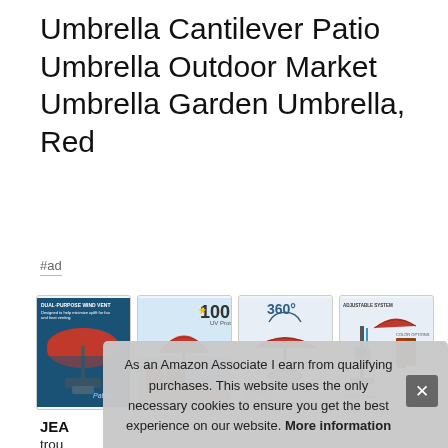Umbrella Cantilever Patio Umbrella Outdoor Market Umbrella Garden Umbrella, Red
#ad
[Figure (photo): Four product thumbnail images of a red cantilever patio umbrella showing: dual-purpose wind vent feature, outdoor setting with 100 label, 360-degree rotation diagram, and adjustable tilt mechanism diagram.]
JEAN trouble prob your angle with the press of a button. Umbrella cover included - in
As an Amazon Associate I earn from qualifying purchases. This website uses the only necessary cookies to ensure you get the best experience on our website. More information